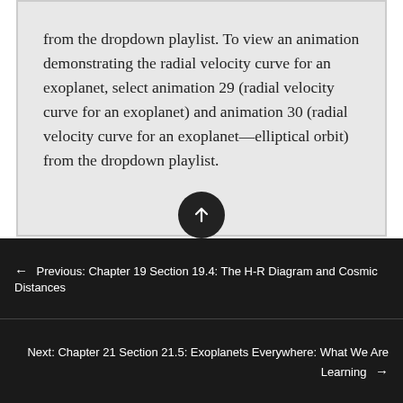from the dropdown playlist. To view an animation demonstrating the radial velocity curve for an exoplanet, select animation 29 (radial velocity curve for an exoplanet) and animation 30 (radial velocity curve for an exoplanet—elliptical orbit) from the dropdown playlist.
← Previous: Chapter 19 Section 19.4: The H-R Diagram and Cosmic Distances
Next: Chapter 21 Section 21.5: Exoplanets Everywhere: What We Are Learning →